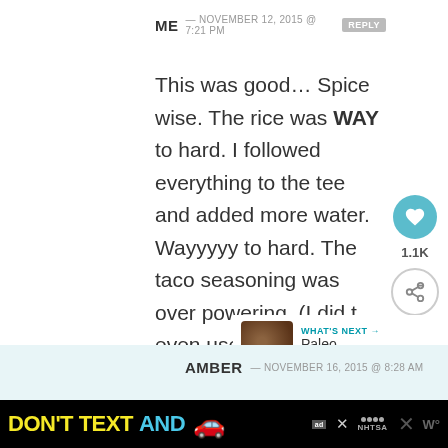ME — NOVEMBER 12, 2015 @ 7:21 PM  REPLY
This was good… Spice wise. The rice was WAY to hard. I followed everything to the tee and added more water. Wayyyyy to hard. The taco seasoning was over powering. (I did t even use that much). It's something that needed to be mixed in. IF I make this again, I'll make sure to make this with rice on the side to ensure fully cooked rice.
[Figure (illustration): Heart/like icon button with 1.1K count and share button]
[Figure (photo): What's Next panel: Paleo Chocolate...]
AMBER — NOVEMBER 16, 2015 @ 8:28 AM
[Figure (infographic): Advertisement bar: DON'T TEXT AND [car emoji] with NHTSA logo]